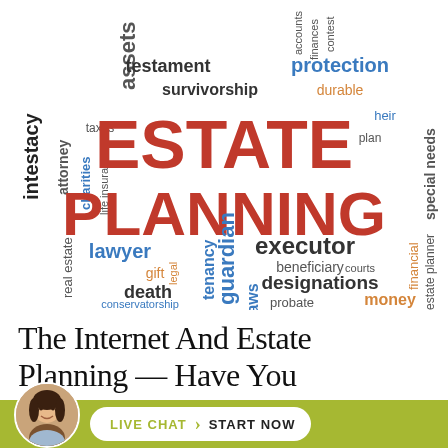[Figure (illustration): Estate planning word cloud featuring terms like ESTATE, PLANNING in large red letters, protection in blue, and many related legal/financial terms in various colors (red, blue, orange, black, gray)]
The Internet And Estate Planning — Have You
[Figure (infographic): Footer bar with olive/yellow-green background containing a circular avatar photo of a woman and a white rounded button with 'LIVE CHAT > START NOW']